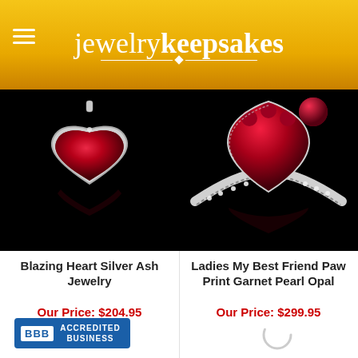jewelrykeepsakes
[Figure (photo): Blazing Heart Silver Ash Jewelry product photo on black background — a silver heart-shaped pendant with red enamel fill]
Blazing Heart Silver Ash Jewelry
Our Price: $204.95
[Figure (photo): Ladies My Best Friend Paw Print Garnet Pearl Opal product photo on black background — a silver ring with red stone paw print design and diamond-studded band]
Ladies My Best Friend Paw Print Garnet Pearl Opal
Our Price: $299.95
[Figure (logo): BBB Accredited Business badge — blue background with white text 'ACCREDITED BUSINESS' and BBB logo]